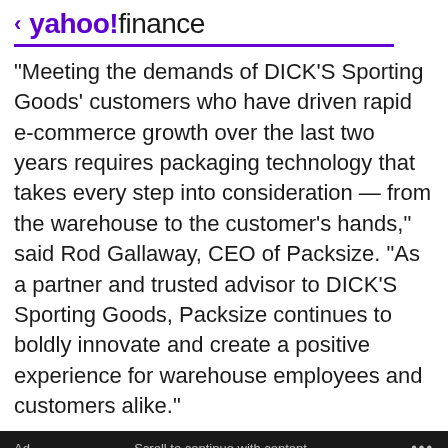< yahoo!finance
"Meeting the demands of DICK'S Sporting Goods' customers who have driven rapid e-commerce growth over the last two years requires packaging technology that takes every step into consideration — from the warehouse to the customer's hands," said Rod Gallaway, CEO of Packsize. "As a partner and trusted advisor to DICK'S Sporting Goods, Packsize continues to boldly innovate and create a positive experience for warehouse employees and customers alike."
Ad  Scroll to continue with content  ...
[Figure (screenshot): Advertisement banner with blue gradient background and a green button labeled 'Explore FLTR']